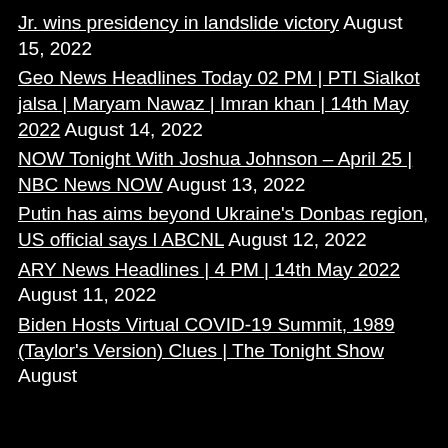Jr. wins presidency in landslide victory August 15, 2022
Geo News Headlines Today 02 PM | PTI Sialkot jalsa | Maryam Nawaz | Imran khan | 14th May 2022 August 14, 2022
NOW Tonight With Joshua Johnson – April 25 | NBC News NOW August 13, 2022
Putin has aims beyond Ukraine's Donbas region, US official says l ABCNL August 12, 2022
ARY News Headlines | 4 PM | 14th May 2022 August 11, 2022
Biden Hosts Virtual COVID-19 Summit, 1989 (Taylor's Version) Clues | The Tonight Show August